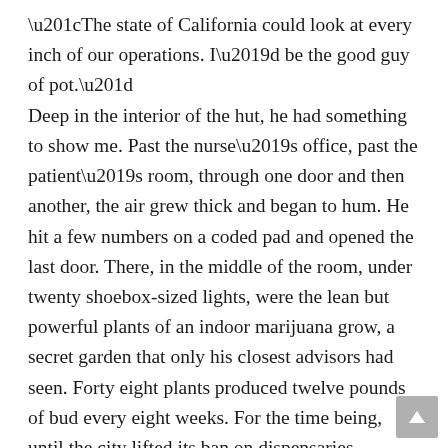“The state of California could look at every inch of our operations. I’d be the good guy of pot.” Deep in the interior of the hut, he had something to show me. Past the nurse’s office, past the patient’s room, through one door and then another, the air grew thick and began to hum. He hit a few numbers on a coded pad and opened the last door. There, in the middle of the room, under twenty shoebox-sized lights, were the lean but powerful plants of an indoor marijuana grow, a secret garden that only his closest advisors had seen. Forty eight plants produced twelve pounds of bud every eight weeks. For the time being, until the city lifted its ban on dispensaries growing their own product, it was illegal. “This is the model I’d take from Crescent City to San Diego. I wouldn’t be a greedy bastard. With the economy